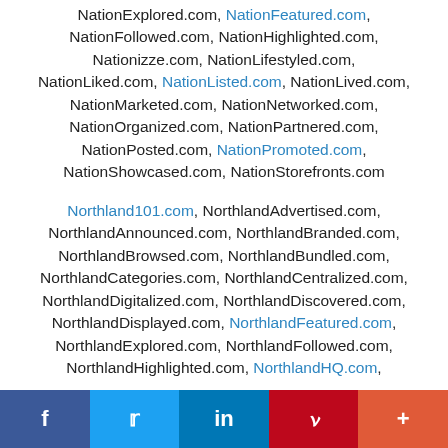NationExplored.com, NationFeatured.com, NationFollowed.com, NationHighlighted.com, Nationizze.com, NationLifestyled.com, NationLiked.com, NationListed.com, NationLived.com, NationMarketed.com, NationNetworked.com, NationOrganized.com, NationPartnered.com, NationPosted.com, NationPromoted.com, NationShowcased.com, NationStorefronts.com
Northland101.com, NorthlandAdvertised.com, NorthlandAnnounced.com, NorthlandBranded.com, NorthlandBrowsed.com, NorthlandBundled.com, NorthlandCategories.com, NorthlandCentralized.com, NorthlandDigitalized.com, NorthlandDiscovered.com, NorthlandDisplayed.com, NorthlandFeatured.com, NorthlandExplored.com, NorthlandFollowed.com, NorthlandHighlighted.com, NorthlandHQ.com,
f  Twitter  in  Pinterest  +